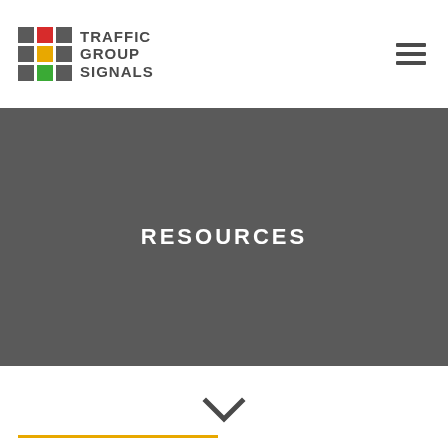[Figure (logo): Traffic Group Signals logo with 3x3 colored square grid and company name in bold dark text]
RESOURCES
[Figure (illustration): Chevron/down arrow symbol in dark grey, above a gold horizontal rule line]